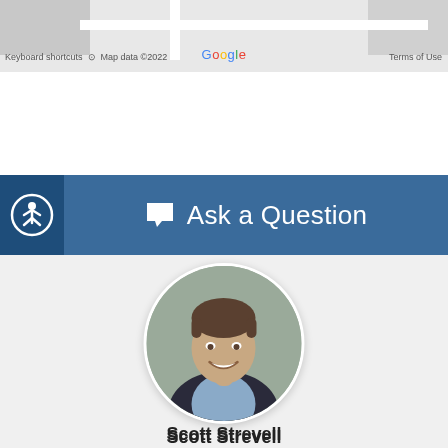[Figure (screenshot): Partial Google Maps view showing street map with two gray blocks, a horizontal road, and Google branding at bottom including 'Google', 'Keyboard shortcuts', 'Map data ©2022', 'Terms of Use']
Ask a Question
[Figure (photo): Circular headshot photo of Scott Strevell, a middle-aged man with brown hair, smiling, wearing a dark blazer and light blue shirt, against a gray background]
Scott Strevell
Broker Associate
Scott@KCHomes365.com